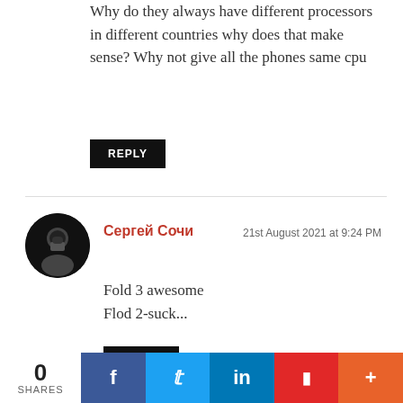Why do they always have different processors in different countries why does that make sense? Why not give all the phones same cpu
REPLY
[Figure (photo): Avatar of commenter Сергей Сочи — dark circular profile photo showing a figure in dark clothing]
Сергей Сочи  21st August 2021 at 9:24 PM
Fold 3 awesome
Flod 2-suck...
REPLY
[Figure (infographic): Social share bar showing 0 SHARES with Facebook, Twitter, LinkedIn, Flipboard, and More buttons]